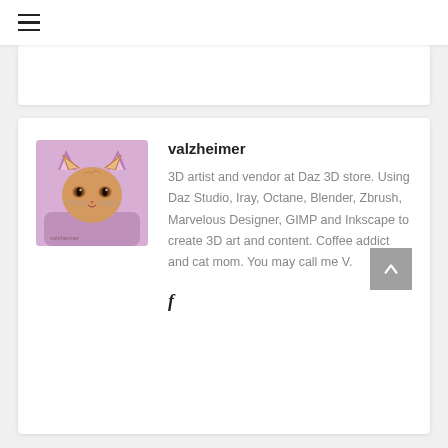≡ (hamburger menu)
[Figure (photo): A cat wearing a pink hoodie with cat ears, orange tabby, profile avatar image with watermark 'valzheimer']
valzheimer
3D artist and vendor at Daz 3D store. Using Daz Studio, Iray, Octane, Blender, Zbrush, Marvelous Designer, GIMP and Inkscape to create 3D art and content. Coffee addict and cat mom. You may call me V.
f